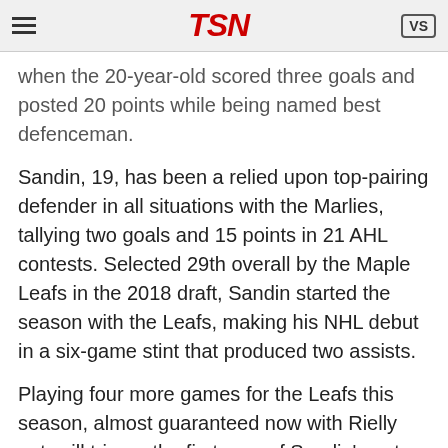TSN
when the 20-year-old scored three goals and posted 20 points while being named best defenceman.
Sandin, 19, has been a relied upon top-pairing defender in all situations with the Marlies, tallying two goals and 15 points in 21 AHL contests. Selected 29th overall by the Maple Leafs in the 2018 draft, Sandin started the season with the Leafs, making his NHL debut in a six-game stint that produced two assists.
Playing four more games for the Leafs this season, almost guaranteed now with Rielly out, will trigger the first year of Sandin's entry-level contract.
Aside from the addition of Sandin, Toronto will be looking for more from its blueliners already in the fold, most notably Travis Dermott. Keefe moved Dermott up to play with Justin Holl on the Leafs' second pairing recently in an effort to ignite the third-year player's game. Dermott logged his…